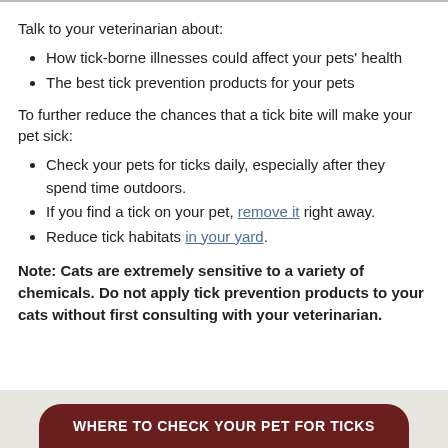Talk to your veterinarian about:
How tick-borne illnesses could affect your pets' health
The best tick prevention products for your pets
To further reduce the chances that a tick bite will make your pet sick:
Check your pets for ticks daily, especially after they spend time outdoors.
If you find a tick on your pet, remove it right away.
Reduce tick habitats in your yard.
Note: Cats are extremely sensitive to a variety of chemicals. Do not apply tick prevention products to your cats without first consulting with your veterinarian.
WHERE TO CHECK YOUR PET FOR TICKS